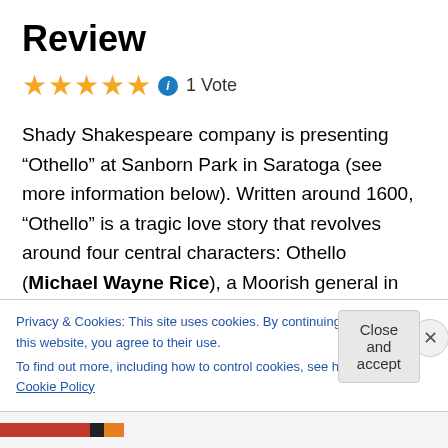Review
★★★★★ ⓘ 1 Vote
Shady Shakespeare company is presenting “Othello” at Sanborn Park in Saratoga (see more information below). Written around 1600, “Othello” is a tragic love story that revolves around four central characters: Othello (Michael Wayne Rice), a Moorish general in the Venetian army, Desdemona (beautifully played by Anne Yumi Kobori), Iago, Othello’s ensign (Robert Campbell is superbly devlilish in the role), and Othello’s lieutenant, Cassio (Alex
Privacy & Cookies: This site uses cookies. By continuing to use this website, you agree to their use.
To find out more, including how to control cookies, see here: Cookie Policy
Close and accept